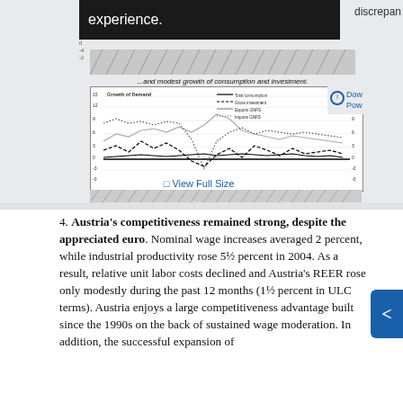[Figure (screenshot): Top portion shows a partially visible chart with dark banner overlay showing 'experience.' text and 'discrepan' text on right. Below is a line chart titled '...and modest growth of consumption and investment.' with 'Growth of Demand' label, showing four series: Total consumption (solid), Gross investment (dashed), Exports GNFS (light solid), Imports GNFS (dotted). X-axis shows quarterly dates from 2000Q1 to 2007Q1. Y-axis ranges from about -0 to 15. Below chart is a '[ ] View Full Size' link.]
4. Austria's competitiveness remained strong, despite the appreciated euro. Nominal wage increases averaged 2 percent, while industrial productivity rose 5½ percent in 2004. As a result, relative unit labor costs declined and Austria's REER rose only modestly during the past 12 months (1½ percent in ULC terms). Austria enjoys a large competitiveness advantage built since the 1990s on the back of sustained wage moderation. In addition, the successful expansion of